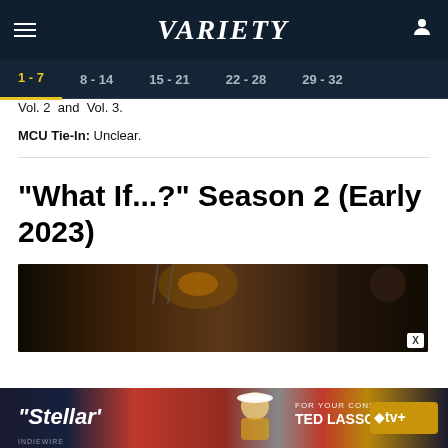Variety — Navigation: 1-7, 8-14, 15-21, 22-28, 29-32
Vol. 2  and  Vol. 3.
MCU Tie-In: Unclear.
"What If...?" Season 2 (Early 2023)
[Figure (photo): Dark animated scene with chains and a shadowy figure on the right side]
[Figure (photo): Advertisement banner: Stellar / For Your Consideration / Ted Lasso / Apple TV+]